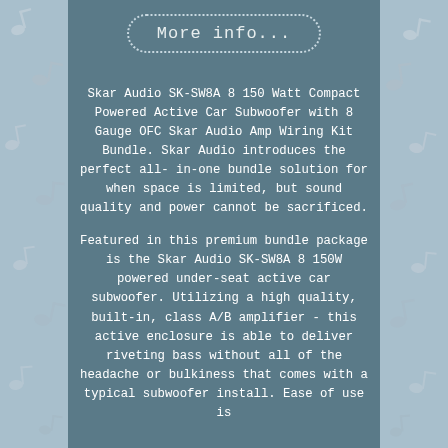[Figure (illustration): Decorative side panels with musical notes on a light blue background, appearing on both left and right sides of the page.]
More info...
Skar Audio SK-SW8A 8 150 Watt Compact Powered Active Car Subwoofer with 8 Gauge OFC Skar Audio Amp Wiring Kit Bundle. Skar Audio introduces the perfect all-in-one bundle solution for when space is limited, but sound quality and power cannot be sacrificed.
Featured in this premium bundle package is the Skar Audio SK-SW8A 8 150W powered under-seat active car subwoofer. Utilizing a high quality, built-in, class A/B amplifier - this active enclosure is able to deliver riveting bass without all of the headache or bulkiness that comes with a typical subwoofer install. Ease of use is